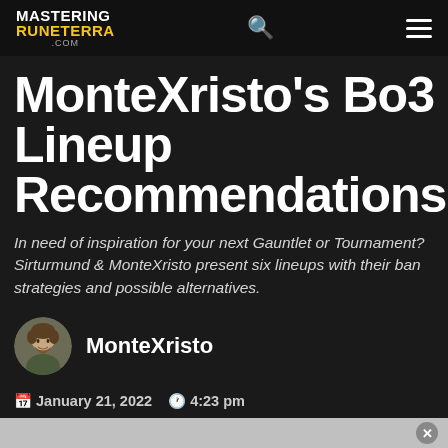MASTERING RUNETERRA .com
MonteXristo's Bo3 Lineup Recommendations
In need of inspiration for your next Gauntlet or Tournament? Sirturmund & MonteXristo present six lineups with their ban strategies and possible alternatives.
[Figure (photo): Circular avatar photo of MonteXristo, a man with curly hair and a beard]
MonteXristo
January 21, 2022  4:23 pm